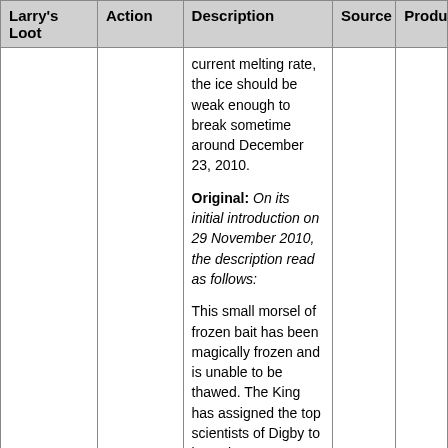| Larry's Loot | Action | Description | Source | Produce |
| --- | --- | --- | --- | --- |
|  |  | current melting rate, the ice should be weak enough to break sometime around December 23, 2010.

Original: On its initial introduction on 29 November 2010, the description read as follows:

This small morsel of frozen bait has been magically frozen and is unable to be thawed. The King has assigned the top scientists of Digby to investigate |  |  |